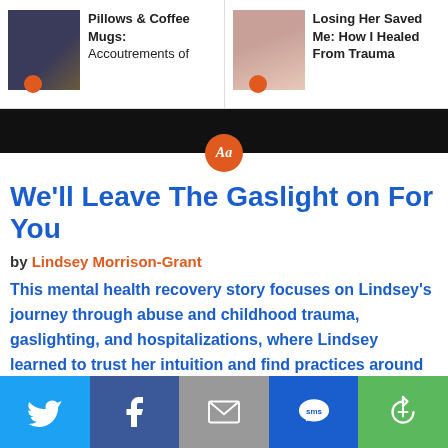[Figure (screenshot): Navigation bar with two article preview thumbnails: left shows a person playing guitar with title 'Pillows & Coffee Mugs: Accoutrements of...', right shows a woman with glasses with title 'Losing Her Saved Me: How I Healed From Trauma']
[Figure (logo): Black banner strip with orange circular 'Aa' badge centered at the bottom]
We'll Leave The Gaslight on For You
by Lindsey Morrison-Grant
This mental health recovery story focuses on Lindsey's journey through abuse and childhood trauma, gaslighting, and hospitalizations, where Lindsey learned to trust her intuition and find practices around caring for herself. Read more in this mental health essay!
[Figure (infographic): Row of colored social share circles (Twitter, LinkedIn, Pinterest, Email, Facebook, Green)]
[Figure (infographic): Bottom social sharing bar with Twitter, Facebook, Email, SMS, and share icons on colored backgrounds]